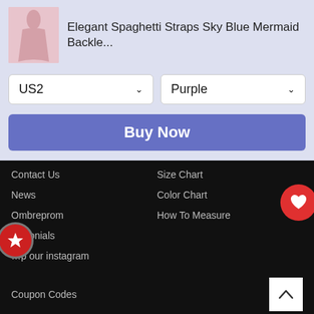[Figure (photo): Product thumbnail of a pink/mauve spaghetti strap mermaid dress]
Elegant Spaghetti Straps Sky Blue Mermaid Backle...
US2
Purple
Buy Now
Contact Us
News
Ombreprom
…monials
…p our instagram
Coupon Codes
Size Chart
Color Chart
How To Measure
COMPANY POLICIES
Return Policy
Security and Privacy
Shipping info
STAY CONNECTED